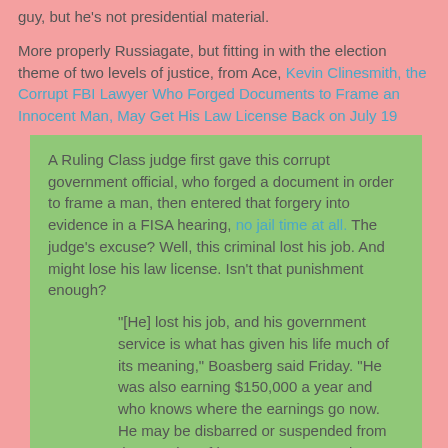guy, but he's not presidential material.
More properly Russiagate, but fitting in with the election theme of two levels of justice, from Ace, Kevin Clinesmith, the Corrupt FBI Lawyer Who Forged Documents to Frame an Innocent Man, May Get His Law License Back on July 19
A Ruling Class judge first gave this corrupt government official, who forged a document in order to frame a man, then entered that forgery into evidence in a FISA hearing, no jail time at all. The judge's excuse? Well, this criminal lost his job. And might lose his law license. Isn't that punishment enough?
"[He] lost his job, and his government service is what has given his life much of its meaning," Boasberg said Friday. "He was also earning $150,000 a year and who knows where the earnings go now. He may be disbarred or suspended from the practice of law, you may never be